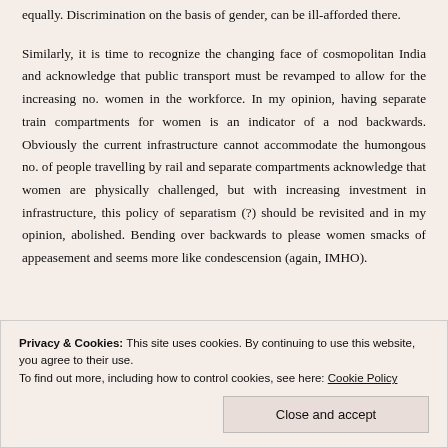equally. Discrimination on the basis of gender, can be ill-afforded there.
Similarly, it is time to recognize the changing face of cosmopolitan India and acknowledge that public transport must be revamped to allow for the increasing no. women in the workforce. In my opinion, having separate train compartments for women is an indicator of a nod backwards. Obviously the current infrastructure cannot accommodate the humongous no. of people travelling by rail and separate compartments acknowledge that women are physically challenged, but with increasing investment in infrastructure, this policy of separatism (?) should be revisited and in my opinion, abolished. Bending over backwards to please women smacks of appeasement and seems more like condescension (again, IMHO).
Privacy & Cookies: This site uses cookies. By continuing to use this website, you agree to their use. To find out more, including how to control cookies, see here: Cookie Policy
Close and accept